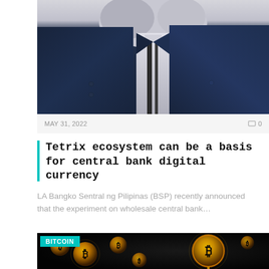[Figure (photo): Two people in dark suits, likely shaking hands or in close proximity, photographed from chest level. A white shirt with dark stripe is visible in the center background.]
MAY 31, 2022   🗨 0
Tetrix ecosystem can be a basis for central bank digital currency
LA Bangko Sentral ng Pilipinas (BSP) recently announced that the experiment on wholesale central bank...
[Figure (photo): Multiple glowing light bulbs with Bitcoin (B) symbols against a dark/black background. One prominent large bulb in center-right with clear Bitcoin symbol. Category badge: BITCOIN in teal/cyan.]